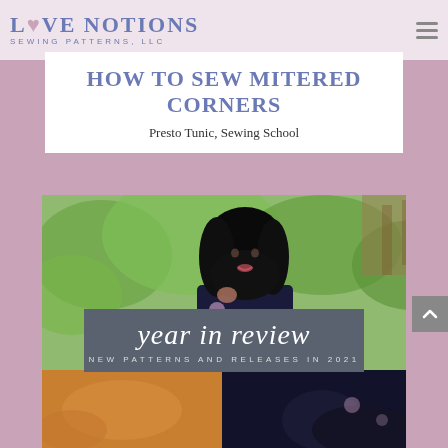Love Notions Sewing Patterns, LLC
HOW TO SEW MITERED CORNERS
Presto Tunic, Sewing School
[Figure (photo): Woman with long black hair wearing a dark floral sleeveless dress, standing outdoors with green trees in background. Below the photo is a gray banner reading 'year in review' in script, with subtitle 'NEW PATTERNS AND RELEASES IN 2021'.]